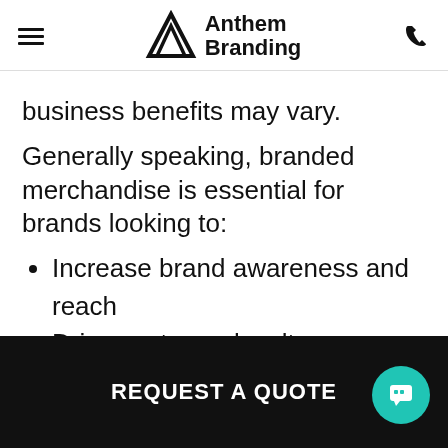Anthem Branding
business benefits may vary.
Generally speaking, branded merchandise is essential for brands looking to:
Increase brand awareness and reach
Drive customer loyalty
Create lasting engagement
Build a reputation
Differentiate
Get noticed
REQUEST A QUOTE